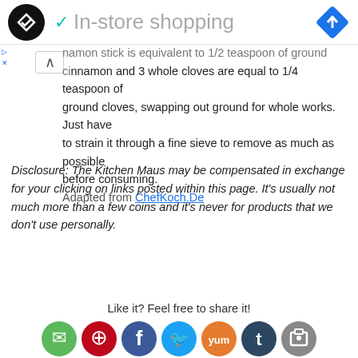In-store shopping
namon stick is equivalent to 1/2 teaspoon of ground cinnamon and 3 whole cloves are equal to 1/4 teaspoon of ground cloves, swapping out ground for whole works. Just have to strain it through a fine sieve to remove as much as possible before consuming. Adapted from ChefKoch.De
Disclosure: The Kitchen Maus may be compensated in exchange for your clicking on links posted within this page. It's usually not much more than a few coins and it's never for products that we don't use personally.
Like it? Feel free to share it!